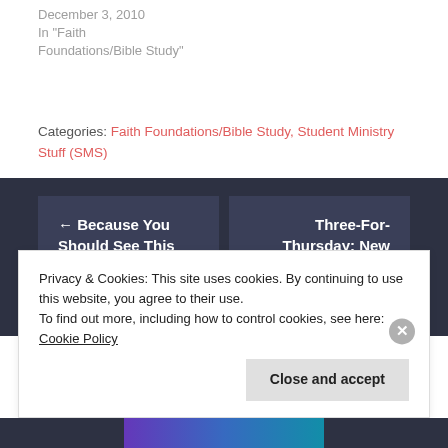December 3, 2010
In "Faith Foundations/Bible Study"
Categories: Faith Foundations/Bible Study, Student Ministry Stuff (SMS)
← Because You Should See This
Three-For-Thursday: New Youthmark things →
Privacy & Cookies: This site uses cookies. By continuing to use this website, you agree to their use.
To find out more, including how to control cookies, see here: Cookie Policy
Close and accept